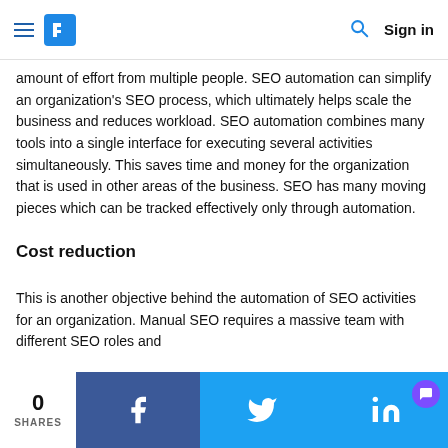Sign in
amount of effort from multiple people. SEO automation can simplify an organization's SEO process, which ultimately helps scale the business and reduces workload. SEO automation combines many tools into a single interface for executing several activities simultaneously. This saves time and money for the organization that is used in other areas of the business. SEO has many moving pieces which can be tracked effectively only through automation.
Cost reduction
This is another objective behind the automation of SEO activities for an organization. Manual SEO requires a massive team with different SEO roles and
0 SHARES